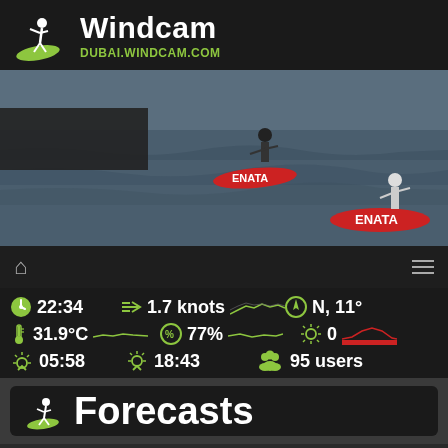Windcam DUBAI.WINDCAM.COM
[Figure (photo): Two windsurfers on water riding ENATA branded boards/foils]
22:34  1.7 knots  N, 11°  31.9°C  77%  0  05:58  18:43  95 users
Forecasts